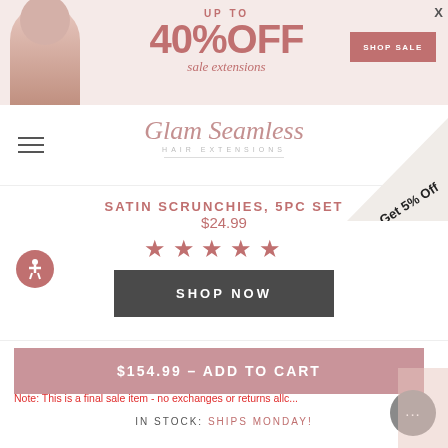[Figure (infographic): Promotional banner for Glam Seamless hair extensions showing a model and text 'UP TO 40% OFF sale extensions' with a SHOP SALE button and X close button]
[Figure (logo): Glam Seamless Hair Extensions logo in pink script font with hamburger menu icon]
Get 5% Off
SATIN SCRUNCHIES, 5PC SET
$24.99
[Figure (infographic): Five pink star rating icons]
SHOP NOW
$154.99 – ADD TO CART
Note: This is a final sale item - no exchanges or returns allowed.
IN STOCK: SHIPS MONDAY!